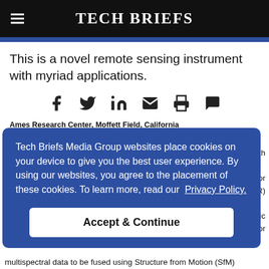Tech Briefs
This is a novel remote sensing instrument with myriad applications.
[Figure (other): Social media sharing icons: Facebook, Twitter, LinkedIn, Email, Print, Comment]
Ames Research Center, Moffett Field, California
Tech Briefs Media Group websites place cookies on your device to give you the best user experience. By using our websites, you agree to the placement of these cookies. To learn more, read our Privacy Policy.
Accept & Continue
multispectral data to be fused using Structure from Motion (SfM)